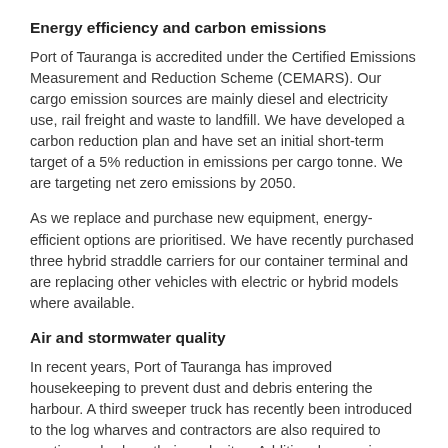Energy efficiency and carbon emissions
Port of Tauranga is accredited under the Certified Emissions Measurement and Reduction Scheme (CEMARS). Our cargo emission sources are mainly diesel and electricity use, rail freight and waste to landfill. We have developed a carbon reduction plan and have set an initial short-term target of a 5% reduction in emissions per cargo tonne. We are targeting net zero emissions by 2050.
As we replace and purchase new equipment, energy-efficient options are prioritised. We have recently purchased three hybrid straddle carriers for our container terminal and are replacing other vehicles with electric or hybrid models where available.
Air and stormwater quality
In recent years, Port of Tauranga has improved housekeeping to prevent dust and debris entering the harbour. A third sweeper truck has recently been introduced to the log wharves and contractors are also required to continuously clean their work sites. Additional screening chambers have been installed on stormwater